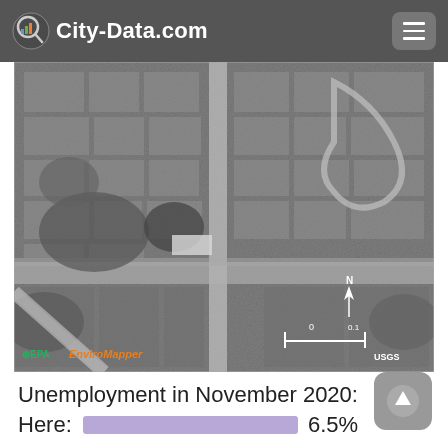City-Data.com
[Figure (map): Aerial grayscale satellite/topographic map showing a suburban area with roads, neighborhoods, and vegetation. EPA EnviroMapper branding in the lower-left corner with a north arrow and scale bar in the lower-right. USGS attribution shown.]
Unemployment in November 2020:
Here: 6.5%